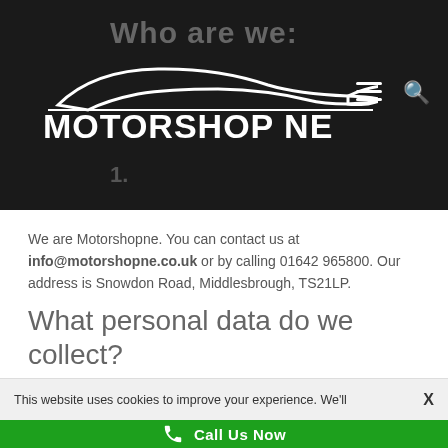MOTORSHOP NE
We are Motorshopne. You can contact us at info@motorshopne.co.uk or by calling 01642 965800. Our address is Snowdon Road, Middlesbrough, TS21LP.
What personal data do we collect?
2.1
This website uses cookies to improve your experience. We'll
Call Us Now